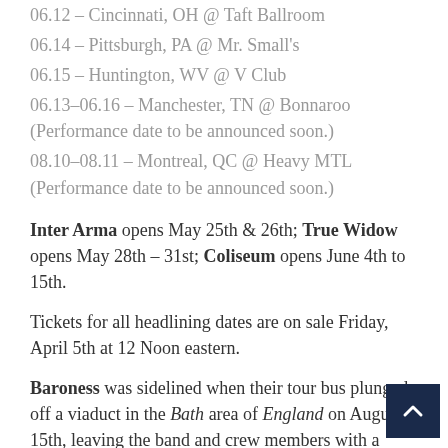06.12 – Cincinnati, OH @ Taft Ballroom
06.14 – Pittsburgh, PA @ Mr. Small's
06.15 – Huntington, WV @ V Club
06.13–06.16 – Manchester, TN @ Bonnaroo (Performance date to be announced soon.)
08.10–08.11 – Montreal, QC @ Heavy MTL (Performance date to be announced soon.)
Inter Arma opens May 25th & 26th; True Widow opens May 28th – 31st; Coliseum opens June 4th to 15th.
Tickets for all headlining dates are on sale Friday, April 5th at 12 Noon eastern.
Baroness was sidelined when their tour bus plunged off a viaduct in the Bath area of England on August 15th, leaving the band and crew members with a variety of serious injuries. Yellow & Green had been